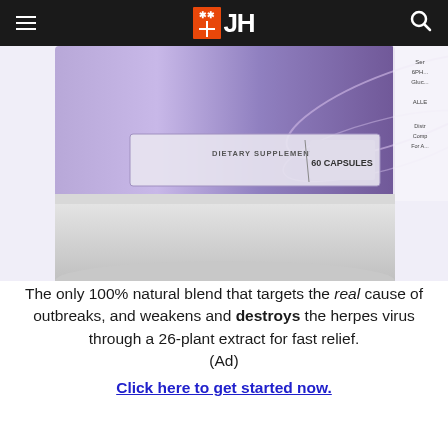JH
[Figure (photo): Close-up of a purple and white dietary supplement bottle labeled 'DIETARY SUPPLEMENT / 60 CAPSULES', showing the bottom portion of the bottle with a white cap area.]
The only 100% natural blend that targets the real cause of outbreaks, and weakens and destroys the herpes virus through a 26-plant extract for fast relief. (Ad)
Click here to get started now.